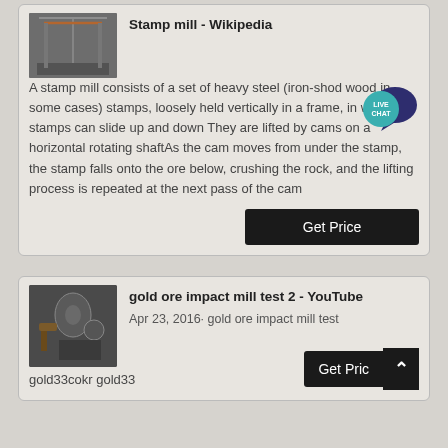[Figure (photo): Industrial building interior with steel structure (stamp mill)]
Stamp mill - Wikipedia
A stamp mill consists of a set of heavy steel (iron-shod wood in some cases) stamps, loosely held vertically in a frame, in which the stamps can slide up and down They are lifted by cams on a horizontal rotating shaftAs the cam moves from under the stamp, the stamp falls onto the ore below, crushing the rock, and the lifting process is repeated at the next pass of the cam
[Figure (photo): Industrial machinery for gold ore impact mill]
gold ore impact mill test 2 - YouTube
Apr 23, 2016· gold ore impact mill test gold33cokr gold33